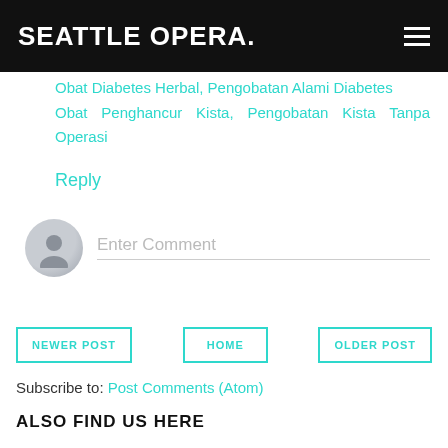SEATTLE OPERA.
Obat Diabetes Herbal, Pengobatan Alami Diabetes
Obat Penghancur Kista, Pengobatan Kista Tanpa Operasi
Reply
[Figure (other): Comment input area with avatar icon and Enter Comment placeholder text]
NEWER POST | HOME | OLDER POST
Subscribe to: Post Comments (Atom)
ALSO FIND US HERE